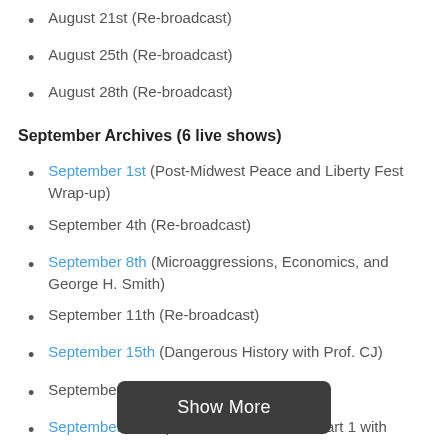August 21st (Re-broadcast)
August 25th (Re-broadcast)
August 28th (Re-broadcast)
September Archives (6 live shows)
September 1st (Post-Midwest Peace and Liberty Fest Wrap-up)
September 4th (Re-broadcast)
September 8th (Microaggressions, Economics, and George H. Smith)
September 11th (Re-broadcast)
September 15th (Dangerous History with Prof. CJ)
September 18th (Re-broadcast)
September 22nd (Scientific Consensus, Part 1 with